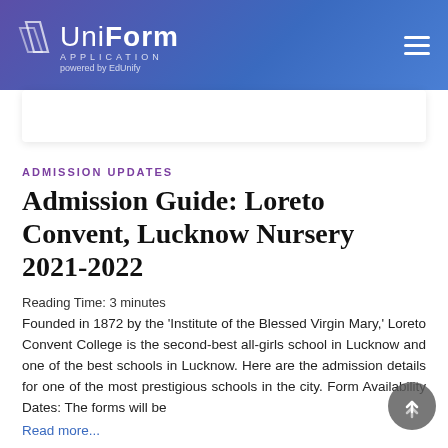UniForm Application powered by EdUnify
ADMISSION UPDATES
Admission Guide: Loreto Convent, Lucknow Nursery 2021-2022
Reading Time: 3 minutes
Founded in 1872 by the ‘Institute of the Blessed Virgin Mary,’ Loreto Convent College is the second-best all-girls school in Lucknow and one of the best schools in Lucknow. Here are the admission details for one of the most prestigious schools in the city. Form Availability Dates: The forms will be
Read more...